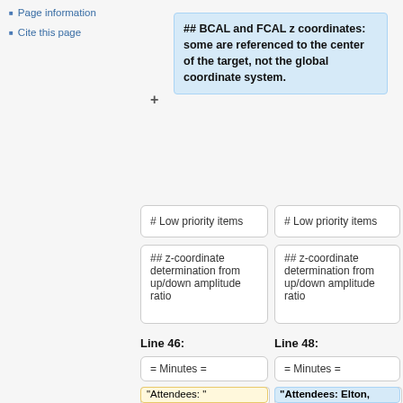Page information
Cite this page
## BCAL and FCAL z coordinates: some are referenced to the center of the target, not the global coordinate system.
# Low priority items
# Low priority items
## z-coordinate determination from up/down amplitude ratio
## z-coordinate determination from up/down amplitude ratio
Line 46:
Line 48:
= Minutes =
= Minutes =
"Attendees: "
"Attendees: Elton, Will M., Mark D. (JLab), Christina, George (Athens),